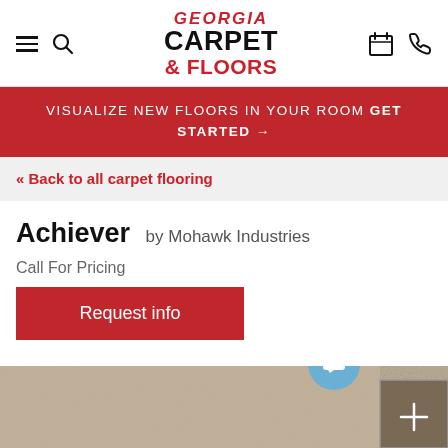Georgia Carpet & Floors — navigation header with hamburger menu, search, logo, calendar, and phone icons
VISUALIZE NEW FLOORS IN YOUR ROOM GET STARTED →
« Back to all carpet flooring
Achiever by Mohawk Industries
Call For Pricing
Request info
[Figure (photo): Carpet texture photo — beige/tan looped carpet with color swatch thumbnail overlay showing darker brown carpet and a plus icon]